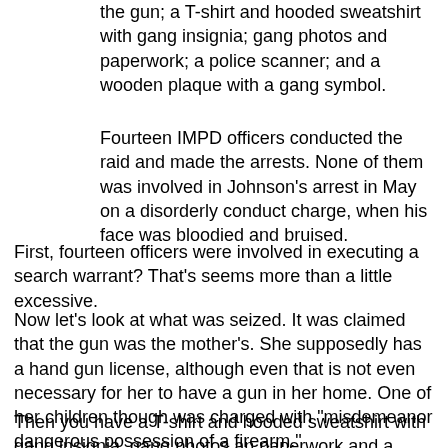the gun; a T-shirt and hooded sweatshirt with gang insignia; gang photos and paperwork; a police scanner; and a wooden plaque with a gang symbol.
Fourteen IMPD officers conducted the raid and made the arrests. None of them was involved in Johnson's arrest in May on a disorderly conduct charge, when his face was bloodied and bruised.
First, fourteen officers were involved in executing a search warrant?  That's seems more than a little excessive.
Now let's look at what was seized.  It was claimed that the gun was the mother's.  She supposedly has a hand gun license, although even that is not even necessary for her to have a gun in her home. One of her children though was charged with "misdemeanor dangerous possession of a firearm."
Then you have a T-shirt and hooded sweatshirt with gang insignia, gang photos an paperwork and a wooden plaque with a gang symbol.  It is not illegal to be in a gang nor is